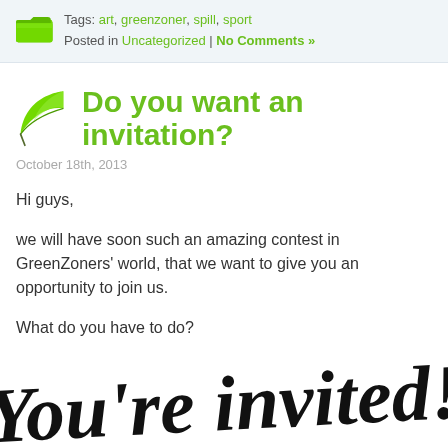Tags: art, greenzoner, spill, sport
Posted in Uncategorized | No Comments »
Do you want an invitation?
October 18th, 2013
Hi guys,
we will have soon such an amazing contest in GreenZoners' world, that we want to give you an opportunity to join us.
What do you have to do?
[Figure (illustration): Handwritten-style text reading 'You're invited!' in large black handwriting font]